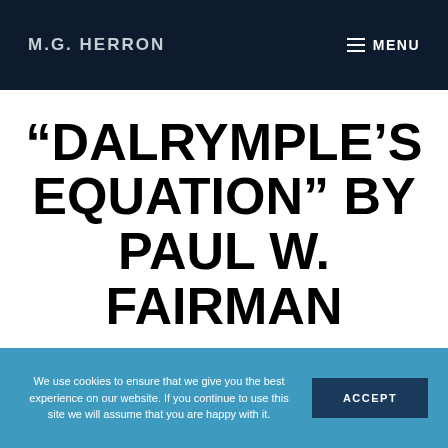M.G. HERRON
“Dalrymple’s Equation” by Paul W. Fairman
We use cookies to ensure that we give you the best experience on our website. If you continue to use this site we will assume that you are happy with it.